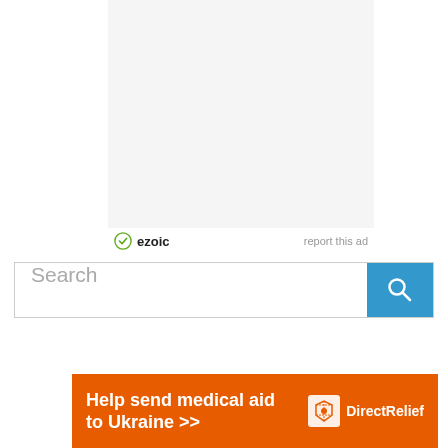[Figure (other): Ad placeholder — light gray rectangle (ezoic advertisement space)]
ezoic   report this ad
[Figure (other): Search bar with text input field and blue search button with magnifying glass icon]
[Figure (other): Direct Relief banner ad: orange background with text 'Help send medical aid to Ukraine >>' and Direct Relief logo on the right]